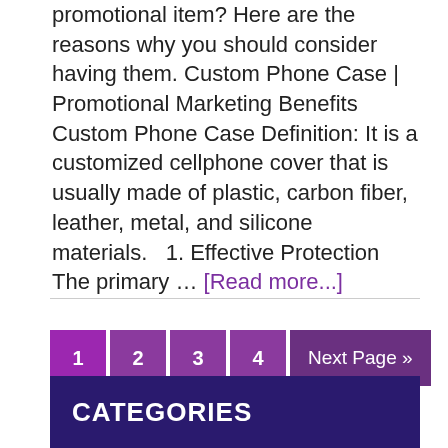promotional item? Here are the reasons why you should consider having them. Custom Phone Case | Promotional Marketing Benefits Custom Phone Case Definition: It is a customized cellphone cover that is usually made of plastic, carbon fiber, leather, metal, and silicone materials.   1. Effective Protection The primary … [Read more...]
1  2  3  4  Next Page »
CATEGORIES